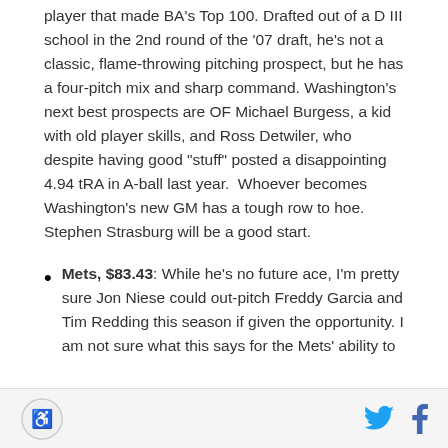player that made BA's Top 100. Drafted out of a D III school in the 2nd round of the '07 draft, he's not a classic, flame-throwing pitching prospect, but he has a four-pitch mix and sharp command. Washington's next best prospects are OF Michael Burgess, a kid with old player skills, and Ross Detwiler, who despite having good "stuff" posted a disappointing 4.94 tRA in A-ball last year.  Whoever becomes Washington's new GM has a tough row to hoe. Stephen Strasburg will be a good start.
Mets, $83.43: While he's no future ace, I'm pretty sure Jon Niese could out-pitch Freddy Garcia and Tim Redding this season if given the opportunity. I am not sure what this says for the Mets' ability to